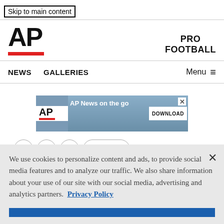Skip to main content
[Figure (logo): AP logo with red underbar and PRO FOOTBALL text]
NEWS  GALLERIES  Menu
[Figure (screenshot): AP News on the go download banner ad with silhouetted figures and DOWNLOAD button]
We use cookies to personalize content and ads, to provide social media features and to analyze our traffic. We also share information about your use of our site with our social media, advertising and analytics partners. Privacy Policy